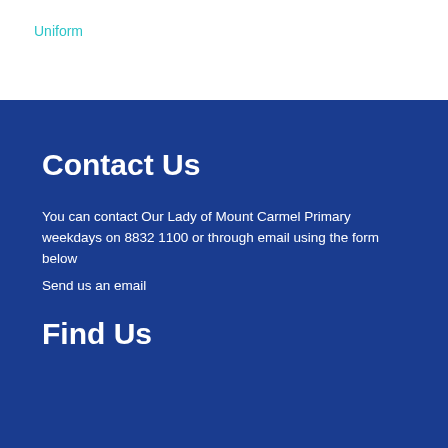Uniform
Contact Us
You can contact Our Lady of Mount Carmel Primary weekdays on 8832 1100 or through email using the form below
Send us an email
Find Us